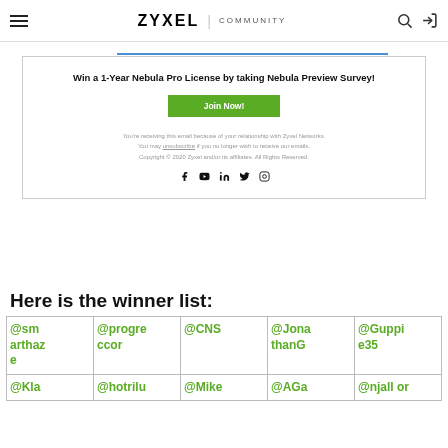ZYXEL NETWORKS | COMMUNITY
Win a 1-Year Nebula Pro License by taking Nebula Preview Survey!
Join Now!
You're receiving this email because of your relationship with Zyxel Networks. You may unsubscribe if you no longer wish to receive our emails. Copyright © 2020 Zyxel and/or its affiliates. All Rights Reserved.
Here is the winner list:
| @smarthaze | @progresscor | @CNS | @JonathanG | @Guppie35 |
| @Kla... | @hotrilu... | @Mike... | @AGa... | @njallor... |